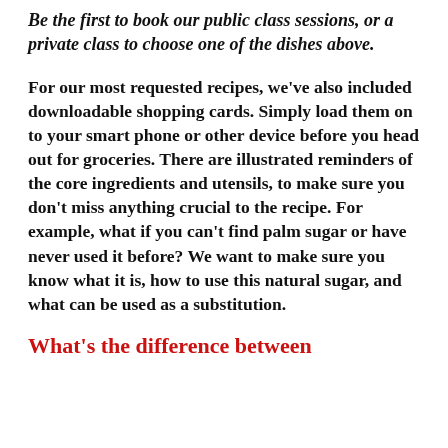Be the first to book our public class sessions, or a private class to choose one of the dishes above.
For our most requested recipes, we've also included downloadable shopping cards. Simply load them on to your smart phone or other device before you head out for groceries. There are illustrated reminders of the core ingredients and utensils, to make sure you don't miss anything crucial to the recipe. For example, what if you can't find palm sugar or have never used it before? We want to make sure you know what it is, how to use this natural sugar, and what can be used as a substitution.
What's the difference between